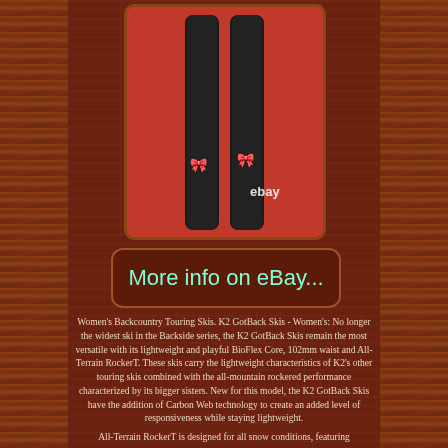[Figure (photo): Two black K2 GotBack skis leaning against a red background, showing tips with pink ribbon logo marks and eBay watermark]
[Figure (other): Rounded rectangle button reading 'More info on eBay...' in teal/aqua cursive text on dark brown background with brown border]
Women's Backcountry Touring Skis. K2 GotBack Skis - Women's: No longer the widest ski in the Backside series, the K2 GotBack Skis remain the most versatile with its lightweight and playful BioFlex Core, 102mm waist and All-Terrain RockerT. These skis carry the lightweight characteristics of K2's other touring skis combined with the all-mountain rockered performance characterized by its bigger sisters. New for this model, the K2 GotBack Skis have the addition of Carbon Web technology to create an added level of responsiveness while staying lightweight.
All-Terrain RockerT is designed for all snow conditions, featuring